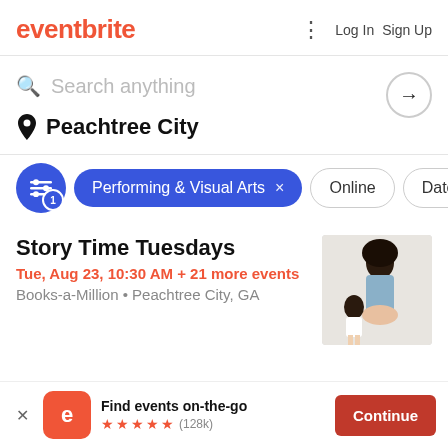eventbrite — Log In  Sign Up
Search anything
Peachtree City
Performing & Visual Arts × Online Date
Story Time Tuesdays
Tue, Aug 23, 10:30 AM + 21 more events
Books-a-Million • Peachtree City, GA
[Figure (photo): Photo of two people, likely a parent and child, used as event thumbnail]
Find events on-the-go ★★★★★ (128k) Continue